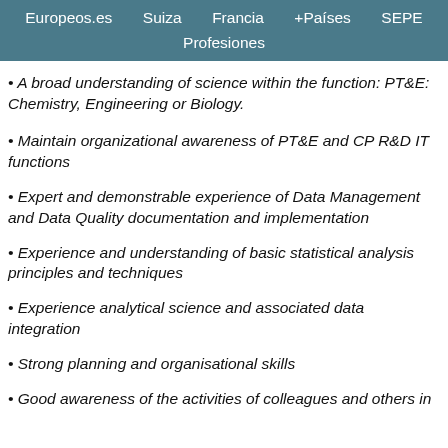Europeos.es   Suiza   Francia   +Países   SEPE   Profesiones
A broad understanding of science within the function: PT&E: Chemistry, Engineering or Biology.
Maintain organizational awareness of PT&E and CP R&D IT functions
Expert and demonstrable experience of Data Management and Data Quality documentation and implementation
Experience and understanding of basic statistical analysis principles and techniques
Experience analytical science and associated data integration
Strong planning and organisational skills
Good awareness of the activities of colleagues and others in